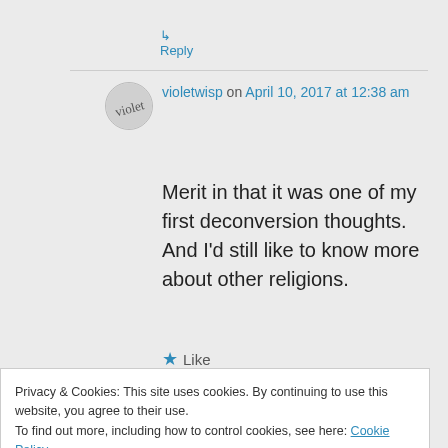↳ Reply
violetwisp on April 10, 2017 at 12:38 am
Merit in that it was one of my first deconversion thoughts. And I'd still like to know more about other religions.
★ Like
Privacy & Cookies: This site uses cookies. By continuing to use this website, you agree to their use.
To find out more, including how to control cookies, see here: Cookie Policy
Close and accept